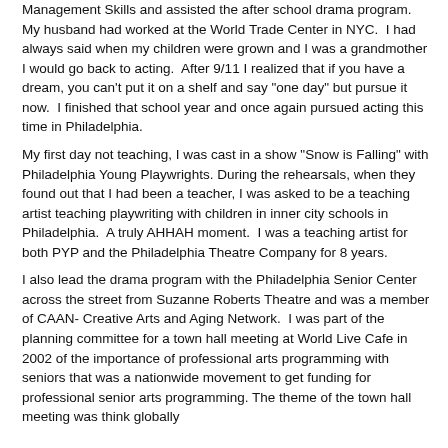Management Skills and assisted the after school drama program. My husband had worked at the World Trade Center in NYC. I had always said when my children were grown and I was a grandmother I would go back to acting. After 9/11 I realized that if you have a dream, you can't put it on a shelf and say "one day" but pursue it now. I finished that school year and once again pursued acting this time in Philadelphia.
My first day not teaching, I was cast in a show "Snow is Falling" with Philadelphia Young Playwrights. During the rehearsals, when they found out that I had been a teacher, I was asked to be a teaching artist teaching playwriting with children in inner city schools in Philadelphia. A truly AHHAH moment. I was a teaching artist for both PYP and the Philadelphia Theatre Company for 8 years.
I also lead the drama program with the Philadelphia Senior Center across the street from Suzanne Roberts Theatre and was a member of CAAN- Creative Arts and Aging Network. I was part of the planning committee for a town hall meeting at World Live Cafe in 2002 of the importance of professional arts programming with seniors that was a nationwide movement to get funding for professional senior arts programming. The theme of the town hall meeting was think globally